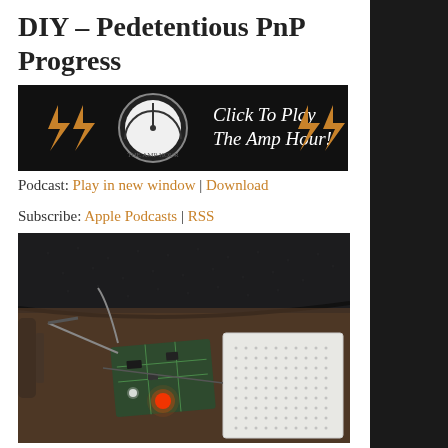DIY – Pedetentious PnP Progress
[Figure (screenshot): The Amp Hour podcast player banner — black background with lightning bolts, a meter/gauge graphic, and text 'Click To Play The Amp Hour!']
Podcast: Play in new window | Download
Subscribe: Apple Podcasts | RSS
[Figure (photo): Photo of a DIY electronics project on a wooden surface — a circuit board propped up with alligator clips and wires, with a red LED lit, next to a white breadboard. A USB cable is visible on the left.]